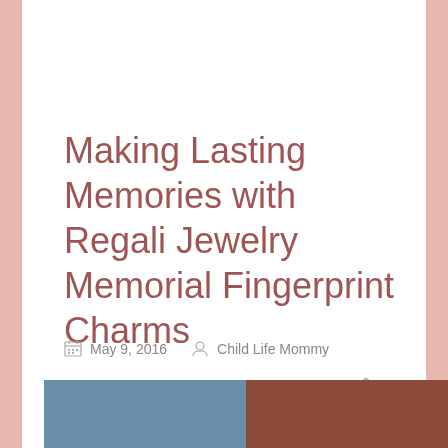Making Lasting Memories with Regali Jewelry Memorial Fingerprint Charms
May 9, 2016   Child Life Mommy
[Figure (photo): Partial photo strip at bottom of page showing two images side by side: left appears to be a blue-toned photo, right appears to be a warm reddish-brown toned photo]